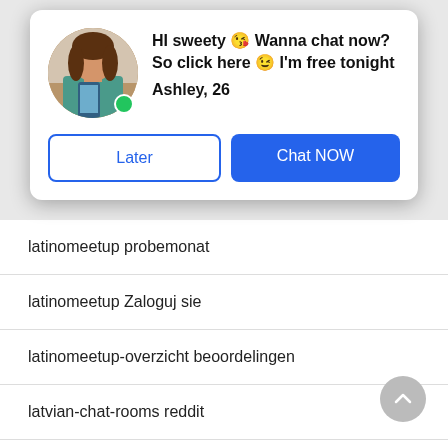[Figure (other): Chat popup card with avatar photo of a young woman, online indicator (green dot), bold message text, name, and two buttons]
HI sweety 😘 Wanna chat now? So click here 😉 I'm free tonight
Ashley, 26
Later
Chat NOW
latinomeetup probemonat
latinomeetup Zaloguj sie
latinomeetup-overzicht beoordelingen
latvian-chat-rooms reddit
lavalife como funciona
lavalife preise
lavalife-inceleme kayД±t olmak